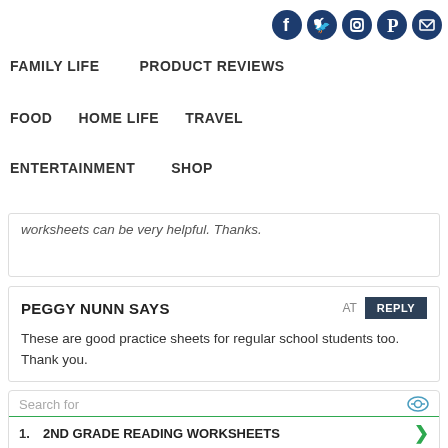Social icons: Facebook, Twitter, Instagram, Pinterest, Email
FAMILY LIFE
PRODUCT REVIEWS
FOOD
HOME LIFE
TRAVEL
ENTERTAINMENT
SHOP
worksheets can be very helpful. Thanks.
PEGGY NUNN SAYS
These are good practice sheets for regular school students too. Thank you.
Search for
1. 2ND GRADE READING WORKSHEETS
2. GRADE 10 WORKSHEETS
Ad | Business Focus